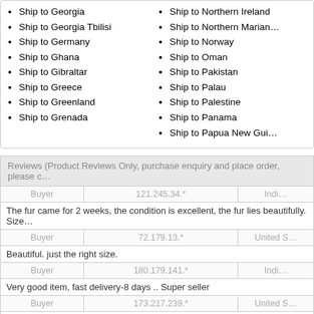Ship to Georgia
Ship to Georgia Tbilisi
Ship to Germany
Ship to Ghana
Ship to Gibraltar
Ship to Greece
Ship to Greenland
Ship to Grenada
Ship to Northern Ireland
Ship to Northern Marian...
Ship to Norway
Ship to Oman
Ship to Pakistan
Ship to Palau
Ship to Palestine
Ship to Panama
Ship to Papua New Gui...
Reviews (Product Reviews Only, purchase enquiry and place order, please c...
| Buyer | IP | Country |
| --- | --- | --- |
| Buyer | 121.245.34.* | Indi... |
| The fur came for 2 weeks, the condition is excellent, the fur lies beautifully. Size... |  |  |
| Buyer | 72.179.13.* | United S... |
| Beautiful. just the right size. |  |  |
| Buyer | 180.179.141.* | Indi... |
| Very good item, fast delivery-8 days .. Super seller |  |  |
| Buyer | 173.217.239.* | United S... |
| Nice goods. No smell. |  |  |
| Buyer | 50.200.246.* | United S... |
| Excellent quality, fast delivery, thanks to seller |  |  |
| Buyer | 124.185.242.* | Austr... |
| It looks soooo beautiful. I love it! |  |  |
| Buyer | 82.143.132.* | Pola... |